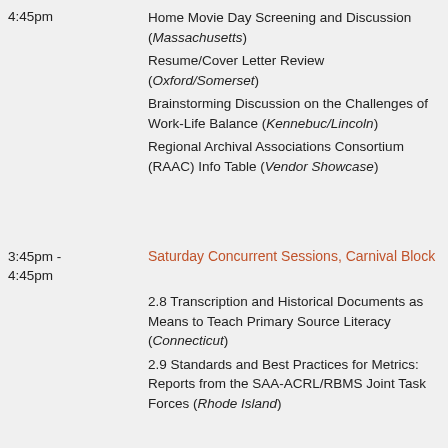4:45pm
Home Movie Day Screening and Discussion (Massachusetts)
Resume/Cover Letter Review (Oxford/Somerset)
Brainstorming Discussion on the Challenges of Work-Life Balance (Kennebuc/Lincoln)
Regional Archival Associations Consortium (RAAC) Info Table (Vendor Showcase)
3:45pm - 4:45pm
Saturday Concurrent Sessions, Carnival Block
2.8 Transcription and Historical Documents as Means to Teach Primary Source Literacy (Connecticut)
2.9 Standards and Best Practices for Metrics: Reports from the SAA-ACRL/RBMS Joint Task Forces (Rhode Island)